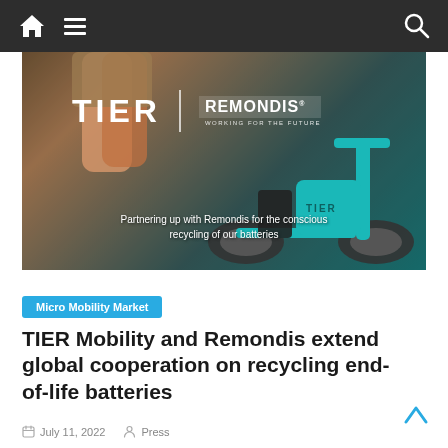Navigation bar with home, menu, and search icons
[Figure (photo): TIER Mobility e-scooter with TIER and REMONDIS logos overlaid. Text reads: Partnering up with Remondis for the conscious recycling of our batteries]
Micro Mobility Market
TIER Mobility and Remondis extend global cooperation on recycling end-of-life batteries
July 11, 2022   Press